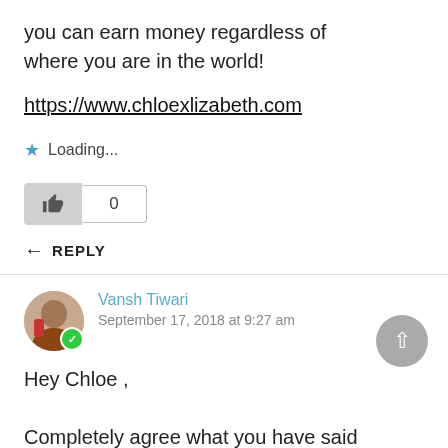you can earn money regardless of where you are in the world!
https://www.chloexlizabeth.com
Loading...
[Figure (other): Like button with thumbs up icon (gray background) and count box showing 0]
REPLY
Vansh Tiwari
September 17, 2018 at 9:27 am
Hey Chloe ,
Completely agree what you have said , it require some serious efforts and